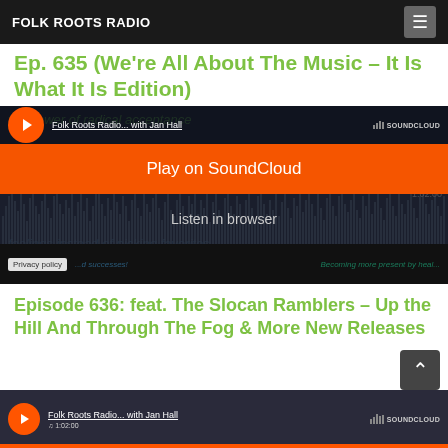FOLK ROOTS RADIO
Ep. 635 (We're All About The Music – It Is What It Is Edition)
[Figure (screenshot): SoundCloud embedded audio player with orange play button overlay showing 'Play on SoundCloud', waveform visualization, 'Listen in browser' text, 1:02:00 duration, and Privacy policy button. Track: Folk Roots Radio... with Jan Hall]
Episode 636: feat. The Slocan Ramblers – Up the Hill And Through The Fog & More New Releases
[Figure (screenshot): SoundCloud embedded audio player (partial, bottom of page) showing play button, track title 'Folk Roots Radio... with Jan Hall', and SoundCloud logo]